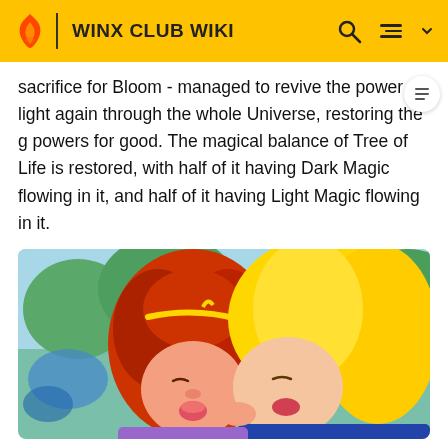WINX CLUB WIKI
sacrifice for Bloom - managed to revive the power of light again through the whole Universe, restoring the g powers for good. The magical balance of Tree of Life is restored, with half of it having Dark Magic flowing in it, and half of it having Light Magic flowing in it.
[Figure (photo): Two animated female characters (one with long red hair and gold headband, one with long blonde hair) sharing a kiss in a colorful forest setting from Winx Club animation.]
The girls transform into Believix, Havram becomes a